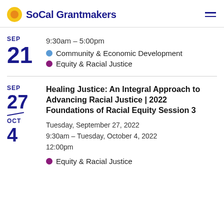SoCal Grantmakers
9:30am – 5:00pm
Community & Economic Development
Equity & Racial Justice
Healing Justice: An Integral Approach to Advancing Racial Justice | 2022 Foundations of Racial Equity Session 3
Tuesday, September 27, 2022
9:30am – Tuesday, October 4, 2022
12:00pm
Equity & Racial Justice